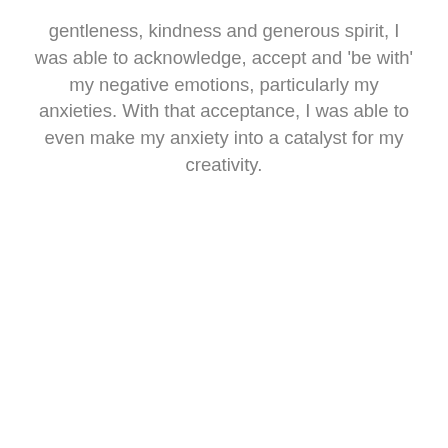gentleness, kindness and generous spirit, I was able to acknowledge, accept and 'be with' my negative emotions, particularly my anxieties. With that acceptance, I was able to even make my anxiety into a catalyst for my creativity.